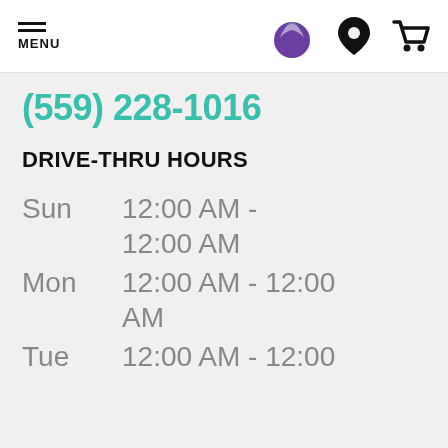MENU | Taco Bell logo | Location icon | Cart icon
(559) 228-1016
DRIVE-THRU HOURS
Sun   12:00 AM - 12:00 AM
Mon   12:00 AM - 12:00 AM
Tue   12:00 AM - 12:00